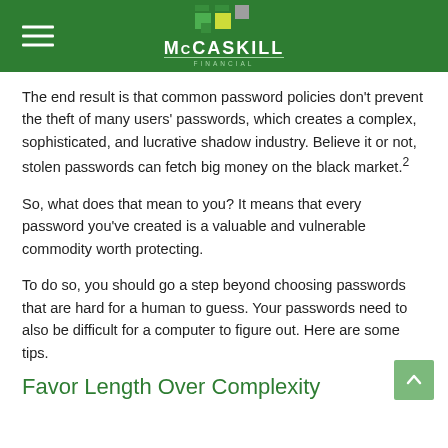McCaskill Financial
The end result is that common password policies don't prevent the theft of many users' passwords, which creates a complex, sophisticated, and lucrative shadow industry. Believe it or not, stolen passwords can fetch big money on the black market.²
So, what does that mean to you? It means that every password you've created is a valuable and vulnerable commodity worth protecting.
To do so, you should go a step beyond choosing passwords that are hard for a human to guess. Your passwords need to also be difficult for a computer to figure out. Here are some tips.
Favor Length Over Complexity